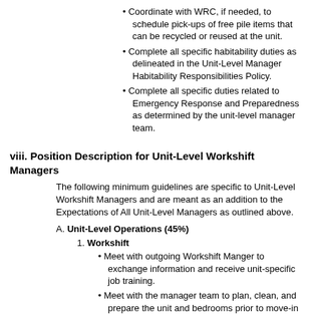Coordinate with WRC, if needed, to schedule pick-ups of free pile items that can be recycled or reused at the unit.
Complete all specific habitability duties as delineated in the Unit-Level Manager Habitability Responsibilities Policy.
Complete all specific duties related to Emergency Response and Preparedness as determined by the unit-level manager team.
viii. Position Description for Unit-Level Workshift Managers
The following minimum guidelines are specific to Unit-Level Workshift Managers and are meant as an addition to the Expectations of All Unit-Level Managers as outlined above.
A. Unit-Level Operations (45%)
1. Workshift
Meet with outgoing Workshift Manger to exchange information and receive unit-specific job training.
Meet with the manager team to plan, clean, and prepare the unit and bedrooms prior to move-in day.
Send a welcome email to returning and new members informing them about temporary workshift and submitting availability and workshift preferences.